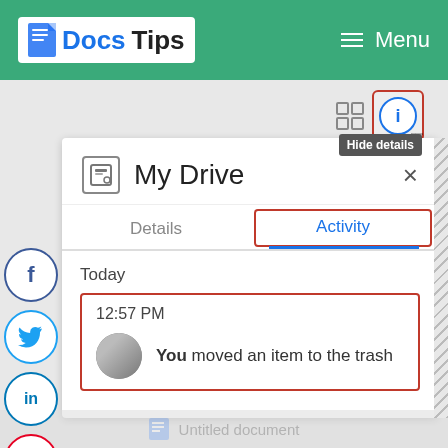Docs Tips — Menu (navigation bar)
[Figure (screenshot): Google Drive Activity panel screenshot showing 'My Drive' header with Details and Activity tabs, Today section with 12:57 PM timestamp, and activity entry: 'You moved an item to the trash'. Social sharing buttons (Facebook, Twitter, LinkedIn, Pinterest) visible on left sidebar. Info icon with 'Hide details' tooltip in top right. Red highlight boxes around Activity tab, info icon, and activity entry.]
Hide details
My Drive
Details
Activity
Today
12:57 PM
You moved an item to the trash
Untitled document